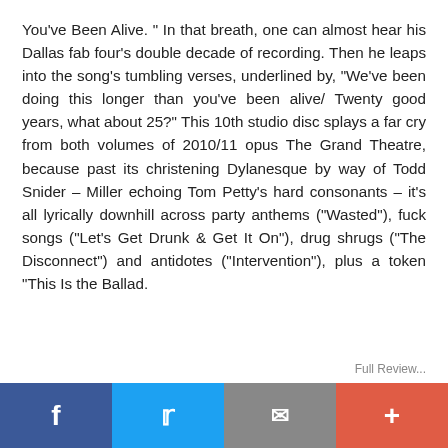You've Been Alive. " In that breath, one can almost hear his Dallas fab four's double decade of recording. Then he leaps into the song's tumbling verses, underlined by, "We've been doing this longer than you've been alive/ Twenty good years, what about 25?" This 10th studio disc splays a far cry from both volumes of 2010/11 opus The Grand Theatre, because past its christening Dylanesque by way of Todd Snider – Miller echoing Tom Petty's hard consonants – it's all lyrically downhill across party anthems ("Wasted"), fuck songs ("Let's Get Drunk & Get It On"), drug shrugs ("The Disconnect") and antidotes ("Intervention"), plus a token "This Is the Ballad.
Full Review...
Facebook | Twitter | Email | +